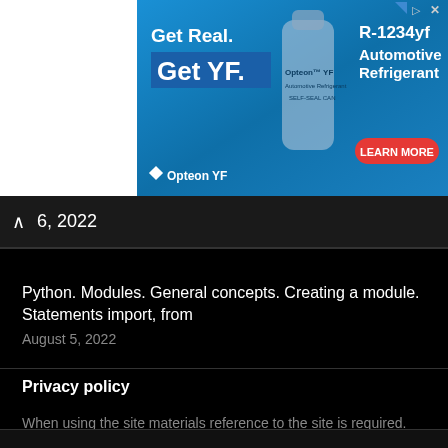[Figure (screenshot): Advertisement banner for Opteon YF R-1234yf Automotive Refrigerant with blue gradient background, bottle image, 'Get Real. Get YF.' text, and 'LEARN MORE' red button]
6, 2022
Python. Modules. General concepts. Creating a module. Statements import, from
August 5, 2022
Privacy policy
When using the site materials reference to the site is required.